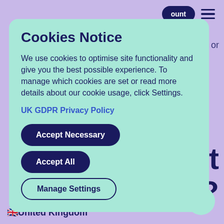ount
Cookies Notice
We use cookies to optimise site functionality and give you the best possible experience. To manage which cookies are set or read more details about our cookie usage, click Settings.
UK GDPR Privacy Policy
Accept Necessary
Accept All
Manage Settings
🇬🇧United Kingdom